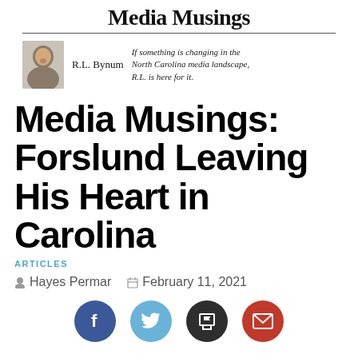[Figure (other): Media Musings column banner with author photo of R.L. Bynum, column title 'Media Musings', and tagline 'If something is changing in the North Carolina media landscape, R.L. is here for it.']
Media Musings: Forslund Leaving His Heart in Carolina
ARTICLES
Hayes Permar   February 11, 2021
[Figure (other): Social share buttons: Facebook (blue), Twitter (light blue), Print (dark), Email (red)]